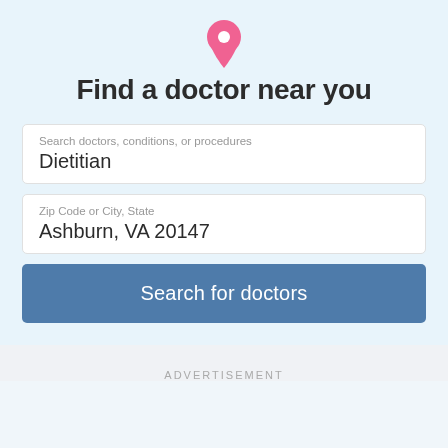[Figure (other): Pink map location pin icon]
Find a doctor near you
Search doctors, conditions, or procedures
Dietitian
Zip Code or City, State
Ashburn, VA 20147
Search for doctors
ADVERTISEMENT